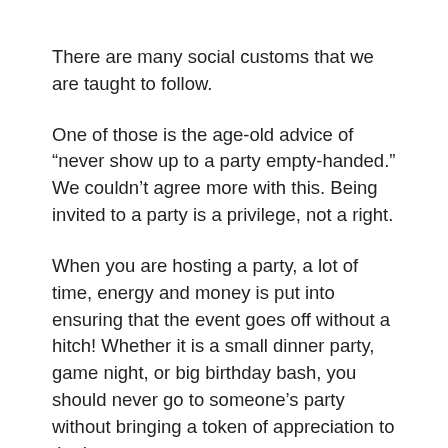There are many social customs that we are taught to follow.
One of those is the age-old advice of “never show up to a party empty-handed.” We couldn’t agree more with this. Being invited to a party is a privilege, not a right.
When you are hosting a party, a lot of time, energy and money is put into ensuring that the event goes off without a hitch! Whether it is a small dinner party, game night, or big birthday bash, you should never go to someone’s party without bringing a token of appreciation to the hostess.